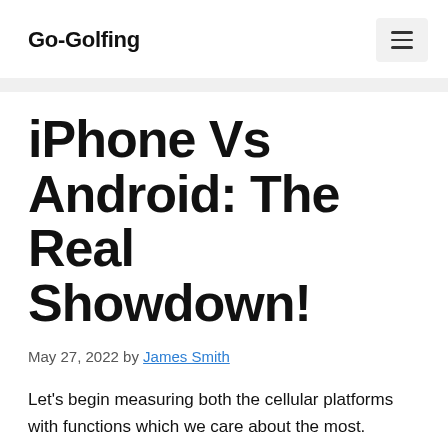Go-Golfing
iPhone Vs Android: The Real Showdown!
May 27, 2022 by James Smith
Let's begin measuring both the cellular platforms with functions which we care about the most.